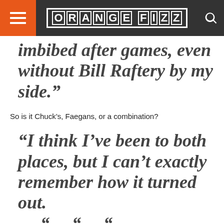ORANGE FIZZ
imbibed after games, even without Bill Raftery by my side.”
So is it Chuck’s, Faegans, or a combination?
“I think I’ve been to both places, but I can’t exactly remember how it turned out.